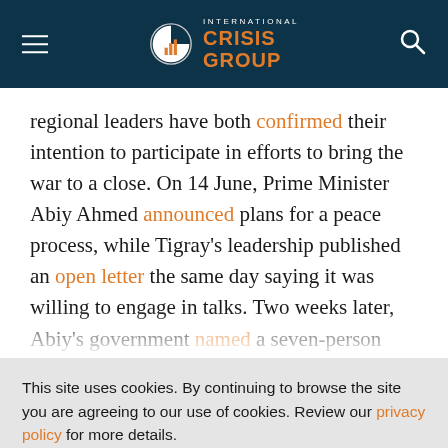International Crisis Group
regional leaders have both confirmed their intention to participate in efforts to bring the war to a close. On 14 June, Prime Minister Abiy Ahmed announced plans for a peace process, while Tigray's leadership published an open letter the same day saying it was willing to engage in talks. Two weeks later, Abiy's government named a seven-person
This site uses cookies. By continuing to browse the site you are agreeing to our use of cookies. Review our privacy policy for more details.
YES, I AGREE